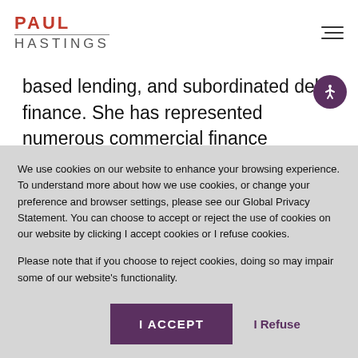PAUL HASTINGS
based lending, and subordinated debt finance. She has represented numerous commercial finance companies, hedge funds, and other lenders in establishing credit facilities for acquisitions, recapitalizations, restructurings,
We use cookies on our website to enhance your browsing experience. To understand more about how we use cookies, or change your preference and browser settings, please see our Global Privacy Statement. You can choose to accept or reject the use of cookies on our website by clicking I accept cookies or I refuse cookies.
Please note that if you choose to reject cookies, doing so may impair some of our website's functionality.
I ACCEPT  |  I Refuse